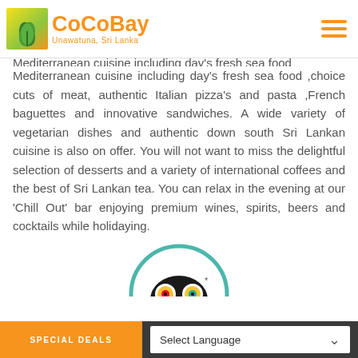CoCoBay Unawatuna, Sri Lanka
Mediterranean cuisine including day’s fresh sea food ,choice cuts of meat, authentic Italian pizza’s and pasta ,French baguettes and innovative sandwiches. A wide variety of vegetarian dishes and authentic down south Sri Lankan cuisine is also on offer. You will not want to miss the delightful selection of desserts and a variety of international coffees and the best of Sri Lankan tea. You can relax in the evening at our ‘Chill Out’ bar enjoying premium wines, spirits, beers and cocktails while holidaying.
[Figure (logo): TripAdvisor owl logo inside a teal circle]
SPECIAL DEALS    Select Language